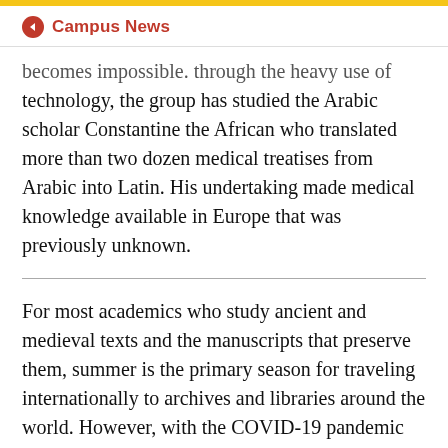Campus News
becomes impossible. through the heavy use of technology, the group has studied the Arabic scholar Constantine the African who translated more than two dozen medical treatises from Arabic into Latin. His undertaking made medical knowledge available in Europe that was previously unknown.
For most academics who study ancient and medieval texts and the manuscripts that preserve them, summer is the primary season for traveling internationally to archives and libraries around the world. However, with the COVID-19 pandemic shutting down those libraries in March and grounding scholars in their homes, most research has been put on